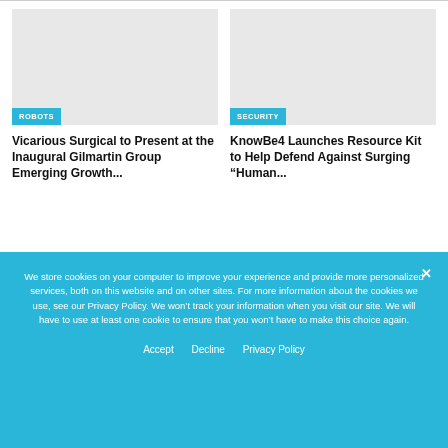[Figure (photo): Gray placeholder image for article about Vicarious Surgical with ROBOTS category tag]
Vicarious Surgical to Present at the Inaugural Gilmartin Group Emerging Growth...
[Figure (photo): Gray placeholder image for article about KnowBe4 with SECURITY category tag]
KnowBe4 Launches Resource Kit to Help Defend Against Surging “Human...
We store cookies on your computer to improve your experience and provide more personalized services, both on this website and on other sites. For more information about the cookies we use, see our Privacy Policy. We won’t track your information when you visit our site. We will have to use at least one cookie to ensure that you won’t have to make this choice again.
Accept    Decline    Privacy Policy